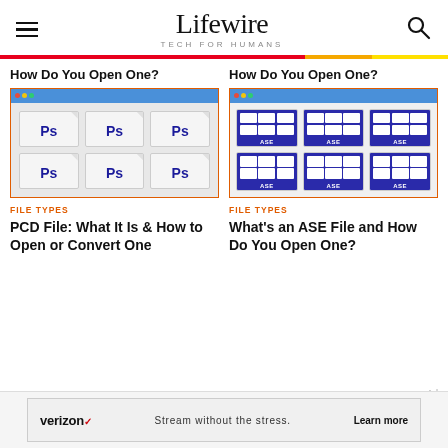Lifewire — TECH FOR HUMANS
[Figure (screenshot): PCD files shown as Photoshop file icons in Windows Explorer grid view]
[Figure (screenshot): ASE files shown as colored tile icons with blue dot grids and ASE labels in Windows Explorer grid view]
How Do You Open One?
How Do You Open One?
FILE TYPES
PCD File: What It Is & How to Open or Convert One
FILE TYPES
What's an ASE File and How Do You Open One?
[Figure (infographic): Verizon advertisement: Stream without the stress. Learn more.]